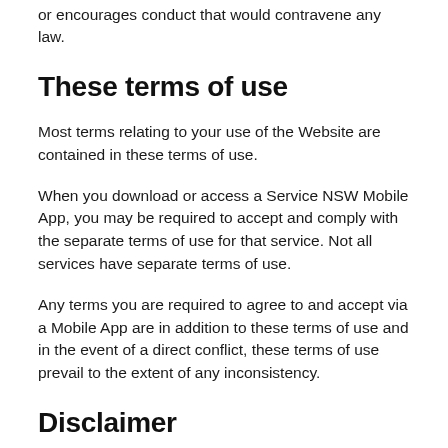or encourages conduct that would contravene any law.
These terms of use
Most terms relating to your use of the Website are contained in these terms of use.
When you download or access a Service NSW Mobile App, you may be required to accept and comply with the separate terms of use for that service. Not all services have separate terms of use.
Any terms you are required to agree to and accept via a Mobile App are in addition to these terms of use and in the event of a direct conflict, these terms of use prevail to the extent of any inconsistency.
Disclaimer